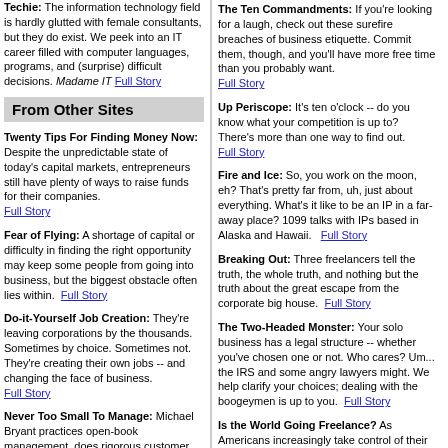Techie: The information technology field is hardly glutted with female consultants, but they do exist. We peek into an IT career filled with computer languages, programs, and (surprise) difficult decisions. Madame IT Full Story
From Other Sites
Twenty Tips For Finding Money Now: Despite the unpredictable state of today's capital markets, entrepreneurs still have plenty of ways to raise funds for their companies. Full Story
Fear of Flying: A shortage of capital or difficulty in finding the right opportunity may keep some people from going into business, but the biggest obstacle often lies within. Full Story
Do-it-Yourself Job Creation: They're leaving corporations by the thousands. Sometimes by choice. Sometimes not. They're creating their own jobs -- and changing the face of business. Full Story
Never Too Small To Manage: Michael Bryant practices open-book management, does rigorous customer analysis, and recently set up a monthly incentive plan. Not bad for a guy with no employees. Full Story
In Search of the Small-Business Bible:
The Ten Commandments: If you're looking for a laugh, check out these surefire breaches of business etiquette. Commit them, though, and you'll have more free time than you probably want. Full Story
Up Periscope: It's ten o'clock -- do you know what your competition is up to? There's more than one way to find out. Full Story
Fire and Ice: So, you work on the moon, eh? That's pretty far from, uh, just about everything. What's it like to be an IP in a far-away place? 1099 talks with IPs based in Alaska and Hawaii. Full Story
Breaking Out: Three freelancers tell the truth, the whole truth, and nothing but the truth about the great escape from the corporate big house. Full Story
The Two-Headed Monster: Your solo business has a legal structure -- whether you've chosen one or not. Who cares? Um... the IRS and some angry lawyers might. We help clarify your choices; dealing with the boogeymen is up to you. Full Story
Is the World Going Freelance? As Americans increasingly take control of their professional lives, like-minded workers beyond the borders do too -- somewhat more slowly. We review some of the issues facing Canadian and